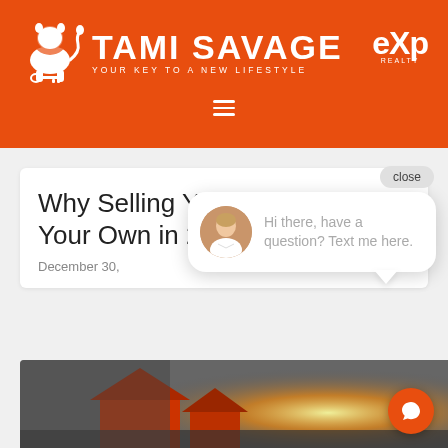[Figure (logo): Tami Savage real estate brand header with lion logo, eXp Realty logo on orange background, and hamburger menu icon]
Why Selling Your House on Your Own in 2021 Is a Mistake
December 30,
[Figure (other): Chat popup widget with agent photo avatar and text: Hi there, have a question? Text me here. With close button and orange chat FAB button.]
[Figure (photo): Photo of a house with orange/sunset glow, partially visible at bottom of page]